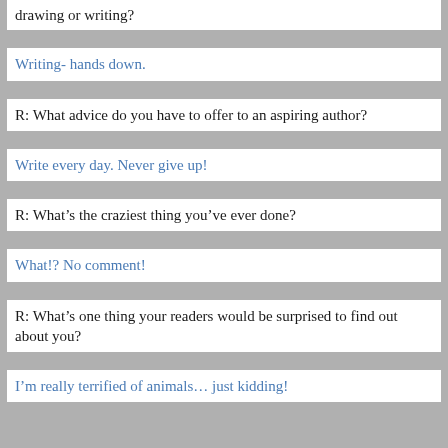drawing or writing?
Writing- hands down.
R: What advice do you have to offer to an aspiring author?
Write every day. Never give up!
R: What’s the craziest thing you’ve ever done?
What!? No comment!
R: What’s one thing your readers would be surprised to find out about you?
I’m really terrified of animals… just kidding!